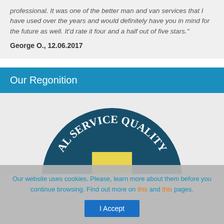professional. It was one of the better man and van services that I have used over the years and would definitely have you in mind for the future as well. It'd rate it four and a half out of five stars."
George O., 12.06.2017
Our Regonition
[Figure (logo): A circular badge/seal with dark teal background and white text reading 'AL SERVICE QUALITY' along the top arc, with a yellow rectangular element visible in the center.]
Our website uses cookies. Please, learn more about them before you continue browsing. Find out more on this and this pages.